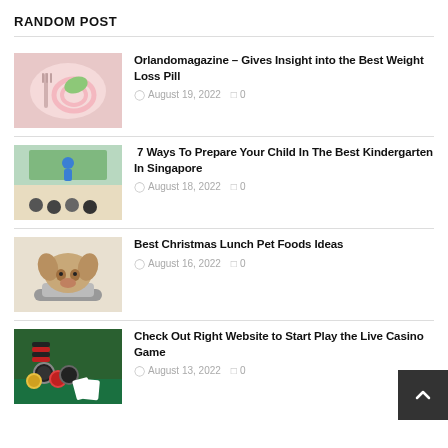RANDOM POST
Orlandomagazine – Gives Insight into the Best Weight Loss Pill | August 19, 2022 | 0
7 Ways To Prepare Your Child In The Best Kindergarten In Singapore | August 18, 2022 | 0
Best Christmas Lunch Pet Foods Ideas | August 16, 2022 | 0
Check Out Right Website to Start Play the Live Casino Game | August 13, 2022 | 0